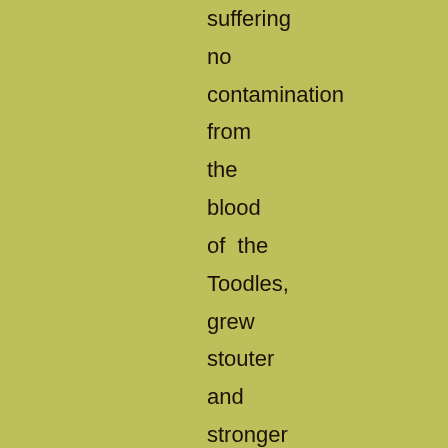suffering no contamination from the blood of the Toodles, grew stouter and stronger every day. Every day, too, he was